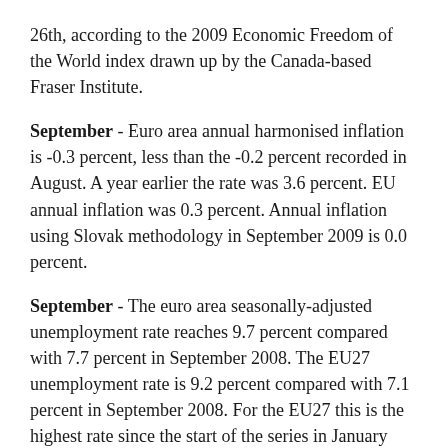26th, according to the 2009 Economic Freedom of the World index drawn up by the Canada-based Fraser Institute.
September - Euro area annual harmonised inflation is -0.3 percent, less than the -0.2 percent recorded in August. A year earlier the rate was 3.6 percent. EU annual inflation was 0.3 percent. Annual inflation using Slovak methodology in September 2009 is 0.0 percent.
September - The euro area seasonally-adjusted unemployment rate reaches 9.7 percent compared with 7.7 percent in September 2008. The EU27 unemployment rate is 9.2 percent compared with 7.1 percent in September 2008. For the EU27 this is the highest rate since the start of the series in January